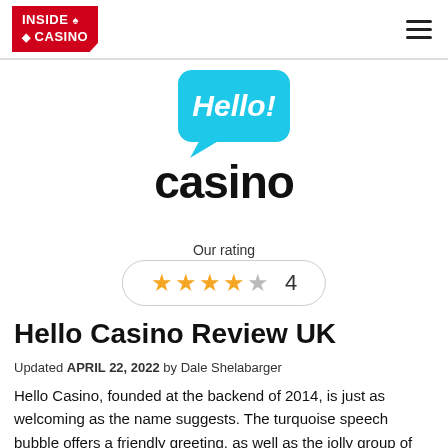INSIDE ♠ ◆ CASINO
[Figure (logo): Hello Casino logo: turquoise speech bubble with 'Hello!' text above bold black 'casino' wordmark]
Our rating
★★★★☆ 4
Hello Casino Review UK
Updated APRIL 22, 2022 by Dale Shelabarger
Hello Casino, founded at the backend of 2014, is just as welcoming as the name suggests. The turquoise speech bubble offers a friendly greeting, as well as the jolly group of models mingling in background